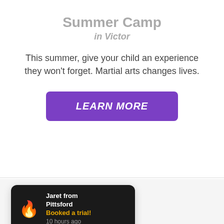Summer Camp
in Victor
This summer, give your child an experience they won't forget. Martial arts changes lives.
LEARN MORE
[Figure (infographic): Notification card with flame emoji showing: Jaret from Pittsford, Booked a trial!, 10 hours ago]